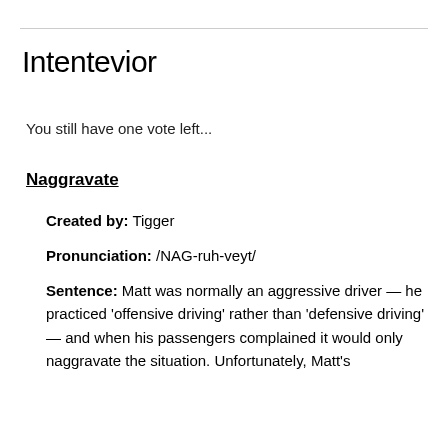Intentevior
You still have one vote left...
Naggravate
Created by: Tigger
Pronunciation: /NAG-ruh-veyt/
Sentence: Matt was normally an aggressive driver — he practiced 'offensive driving' rather than 'defensive driving' — and when his passengers complained it would only naggravate the situation. Unfortunately, Matt's